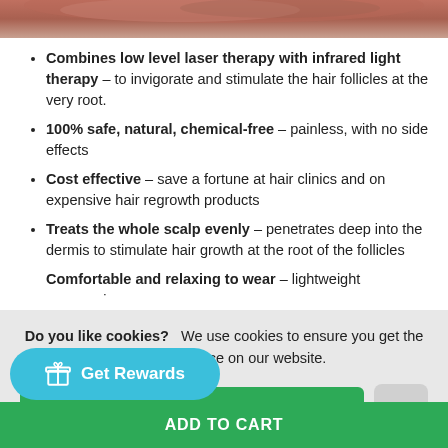[Figure (photo): Top portion of a person's head with dark reddish-brown hair, cropped at the top of the page.]
Combines low level laser therapy with infrared light therapy – to invigorate and stimulate the hair follicles at the very root.
100% safe, natural, chemical-free – painless, with no side effects
Cost effective – save a fortune at hair clinics and on expensive hair regrowth products
Treats the whole scalp evenly – penetrates deep into the dermis to stimulate hair growth at the root of the follicles
Comfortable and relaxing to wear – lightweight ergonomic
Do you like cookies?  We use cookies to ensure you get the best experience on our website.
ACCEPT COOKIES
×
Get Rewards
ADD TO CART